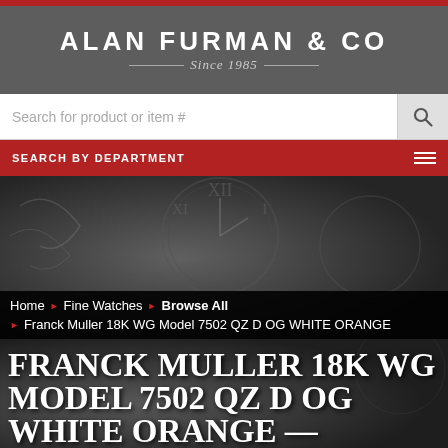ALAN FURMAN & CO — Since 1985
Search for product or item #
SEARCH BY DEPARTMENT
[Figure (screenshot): Background hero image showing decorative clock face in dark grayscale]
Home › Fine Watches › Browse All › Franck Muller 18K WG Model 7502 QZ D OG WHITE ORANGE
FRANCK MULLER 18K WG MODEL 7502 QZ D OG WHITE ORANGE — ALAN...